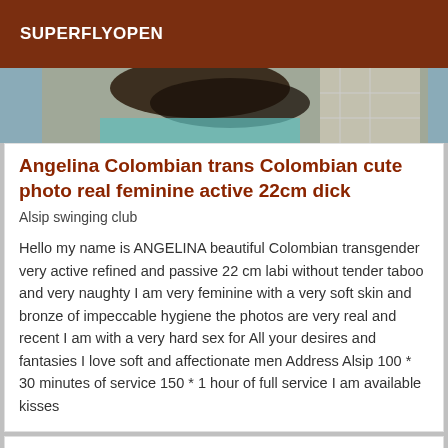SUPERFLYOPEN
[Figure (photo): Partial photo of a person with dark hair in a bathroom setting with teal/turquoise clothing visible]
Angelina Colombian trans Colombian cute photo real feminine active 22cm dick
Alsip swinging club
Hello my name is ANGELINA beautiful Colombian transgender very active refined and passive 22 cm labi without tender taboo and very naughty I am very feminine with a very soft skin and bronze of impeccable hygiene the photos are very real and recent I am with a very hard sex for All your desires and fantasies I love soft and affectionate men Address Alsip 100 * 30 minutes of service 150 * 1 hour of full service I am available kisses